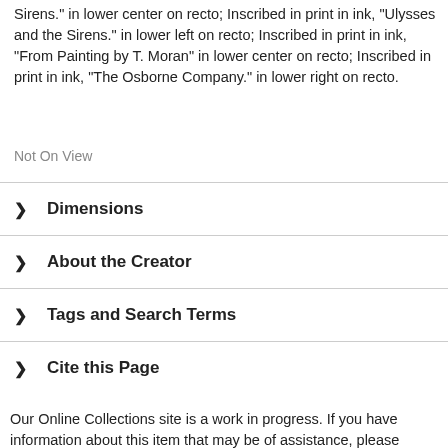Sirens." in lower center on recto; Inscribed in print in ink, "Ulysses and the Sirens." in lower left on recto; Inscribed in print in ink, "From Painting by T. Moran" in lower center on recto; Inscribed in print in ink, "The Osborne Company." in lower right on recto.
Not On View
Dimensions
About the Creator
Tags and Search Terms
Cite this Page
Our Online Collections site is a work in progress. If you have information about this item that may be of assistance, please